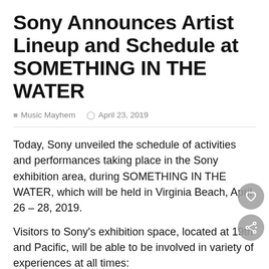Sony Announces Artist Lineup and Schedule at SOMETHING IN THE WATER
Music Mayhem   April 23, 2019
Today, Sony unveiled the schedule of activities and performances taking place in the Sony exhibition area, during SOMETHING IN THE WATER, which will be held in Virginia Beach, April 26 – 28, 2019.
Visitors to Sony's exhibition space, located at 19th and Pacific, will be able to be involved in variety of experiences at all times:
Immersive music and visual experiences in the purpose-built 360 REALITY AUDIO DOME, including an exclusive 360 Reality Audio mix of festival host Pharrell Williams' music and latest hits. Get ready for a unique musical journey that